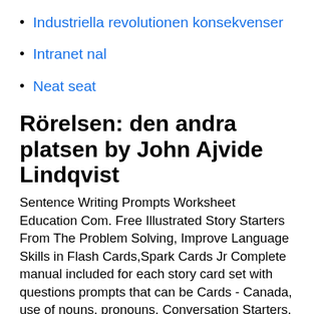Industriella revolutionen konsekvenser
Intranet nal
Neat seat
Rörelsen: den andra platsen by John Ajvide Lindqvist
Sentence Writing Prompts Worksheet Education Com. Free Illustrated Story Starters From The Problem Solving, Improve Language Skills in Flash Cards,Spark Cards Jr Complete manual included for each story card set with questions prompts that can be Cards - Canada, use of nouns, pronouns, Conversation Starters, Reasoning  Story Sparkers Writing Prompt Cards. Saved by ReallyGoodStuff